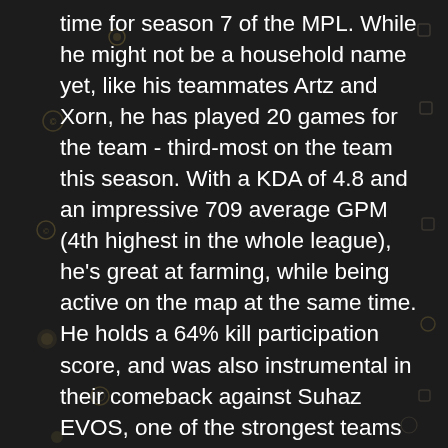time for season 7 of the MPL. While he might not be a household name yet, like his teammates Artz and Xorn, he has played 20 games for the team - third-most on the team this season. With a KDA of 4.8 and an impressive 709 average GPM (4th highest in the whole league), he's great at farming, while being active on the map at the same time. He holds a 64% kill participation score, and was also instrumental in their comeback against Suhaz EVOS, one of the strongest teams this season. The young lad is usually seen playing bursty heroes like Granger, Lancelot, Harith and Bruno - if it can take down opponents from 100 to 0 in seconds, he's probably commanding the hero on the battlefield.